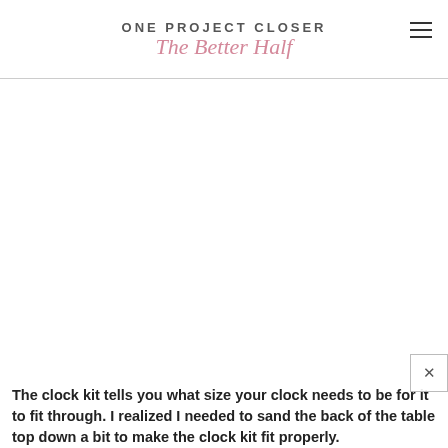ONE PROJECT CLOSER The Better Half
[Figure (other): Large blank white content area placeholder for an image]
The clock kit tells you what size your clock needs to be for it to fit through. I realized I needed to sand the back of the table top down a bit to make the clock kit fit properly.